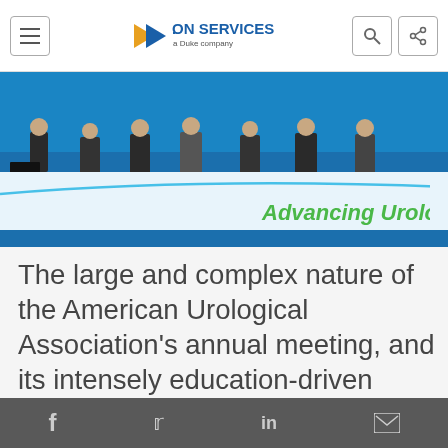ON SERVICES. (logo with navigation icons)
[Figure (photo): Panel of people seated at a conference table at the American Urological Association annual meeting, with blue signage reading 'Advancing Urolo...' in the background]
The large and complex nature of the American Urological Association's annual meeting, and its intensely education-driven agenda, required a “full court press” of audio visual and technological expertise across
f  y  in  (mail icon) — social sharing bar